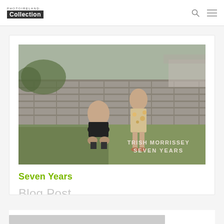PHOTOIRELAND Collection
[Figure (photo): Book cover photograph showing two young girls outdoors near a stone wall, one crouching. Text overlay reads: TRISH MORRISSEY SEVEN YEARS]
Seven Years
Blog Post